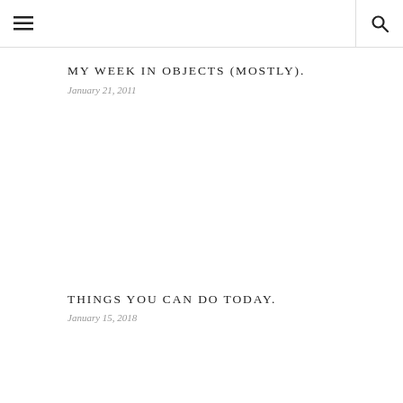☰  🔍
MY WEEK IN OBJECTS (MOSTLY).
January 21, 2011
THINGS YOU CAN DO TODAY.
January 15, 2018